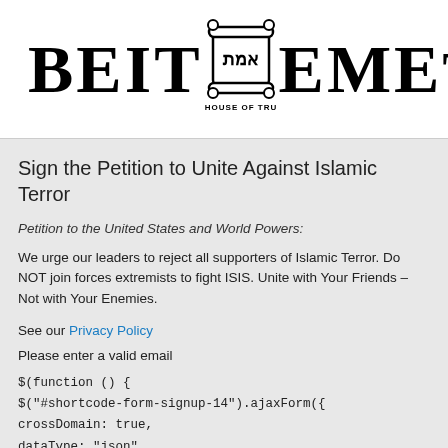[Figure (logo): Beit Emet – House of Truth logo with Hebrew scroll emblem, black text on white background, partially cropped on right side]
Sign the Petition to Unite Against Islamic Terror
Petition to the United States and World Powers:
We urge our leaders to reject all supporters of Islamic Terror. Do NOT join forces extremists to fight ISIS. Unite with Your Friends – Not with Your Enemies.
See our Privacy Policy
Please enter a valid email
$(function () {
$("#shortcode-form-signup-14").ajaxForm({
crossDomain: true,
dataType: "json",
beforeSubmit: function &(